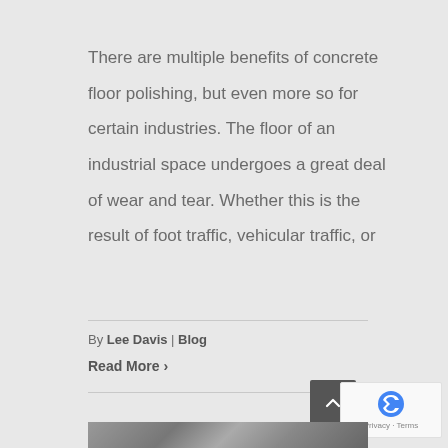There are multiple benefits of concrete floor polishing, but even more so for certain industries. The floor of an industrial space undergoes a great deal of wear and tear. Whether this is the result of foot traffic, vehicular traffic, or
By Lee Davis | Blog
Read More >